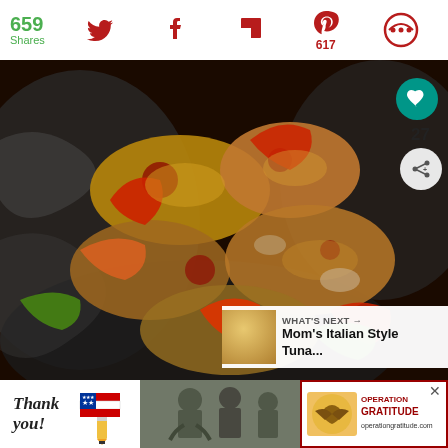659 Shares
[Figure (screenshot): Social media share bar with Twitter, Facebook, Flipboard, Pinterest (617), and another share icon, all in dark red on white background]
[Figure (photo): Roasted chicken pieces with colorful bell peppers (red, green, orange) in a foil baking dish, sauced and browned, with a teal heart/like button overlay showing count 27, a share button, and a 'WHAT'S NEXT' panel showing Mom's Italian Style Tuna...]
[Figure (screenshot): Advertisement banner: 'Thank you!' with American flag pencil graphic, military soldiers photo, and Operation Gratitude logo with red border and close button]